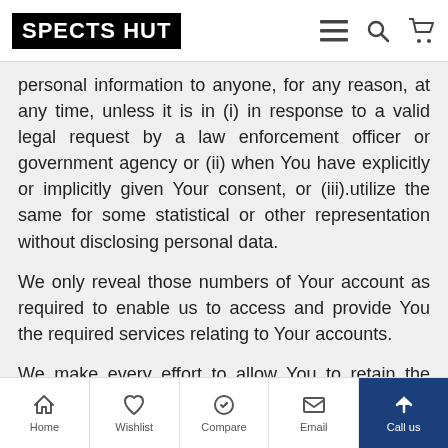SPECTS HUT
personal information to anyone, for any reason, at any time, unless it is in (i) in response to a valid legal request by a law enforcement officer or government agency or (ii) when You have explicitly or implicitly given Your consent, or (iii).utilize the same for some statistical or other representation without disclosing personal data.
We only reveal those numbers of Your account as required to enable us to access and provide You the required services relating to Your accounts.
We make every effort to allow You to retain the anonymity of Your personal identity and You are free to choose a Login ID email address and password that
Home   Wishlist   Compare   Email   Call us